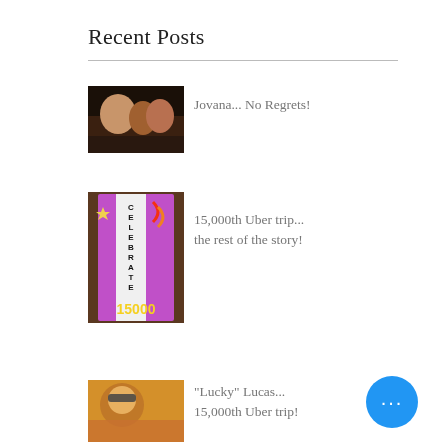Recent Posts
[Figure (photo): Photo of an older man with two young women at what appears to be a restaurant or nighttime event]
Jovana... No Regrets!
[Figure (photo): Colorful 'CELEBRATE 15000' banner with purple, yellow and orange colors]
15,000th Uber trip... the rest of the story!
[Figure (photo): Photo of a man with sunglasses outdoors]
"Lucky" Lucas... 15,000th Uber trip!